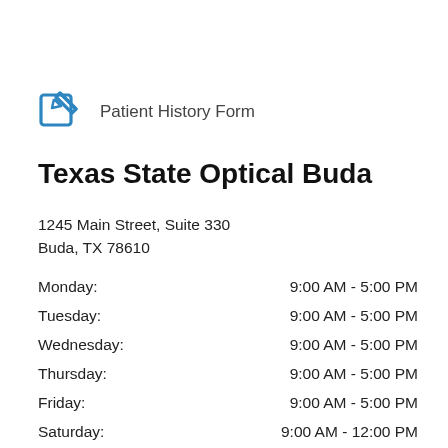[Figure (illustration): Blue edit/pencil icon (square with pencil overlay) next to text 'Patient History Form']
Patient History Form
Texas State Optical Buda
1245 Main Street, Suite 330
Buda, TX 78610
Monday:    9:00 AM - 5:00 PM
Tuesday:   9:00 AM - 5:00 PM
Wednesday: 9:00 AM - 5:00 PM
Thursday:  9:00 AM - 5:00 PM
Friday:    9:00 AM - 5:00 PM
Saturday:  9:00 AM - 12:00 PM